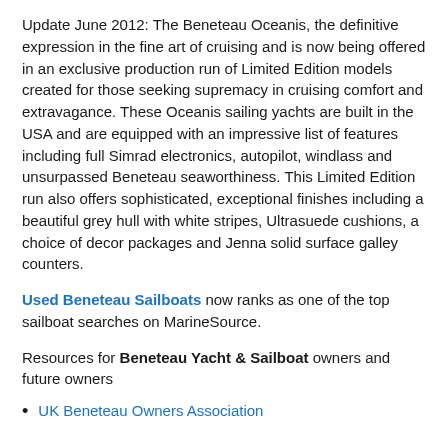Update June 2012: The Beneteau Oceanis, the definitive expression in the fine art of cruising and is now being offered in an exclusive production run of Limited Edition models created for those seeking supremacy in cruising comfort and extravagance. These Oceanis sailing yachts are built in the USA and are equipped with an impressive list of features including full Simrad electronics, autopilot, windlass and unsurpassed Beneteau seaworthiness. This Limited Edition run also offers sophisticated, exceptional finishes including a beautiful grey hull with white stripes, Ultrasuede cushions, a choice of decor packages and Jenna solid surface galley counters.
Used Beneteau Sailboats now ranks as one of the top sailboat searches on MarineSource.
Resources for Beneteau Yacht & Sailboat owners and future owners
UK Beneteau Owners Association